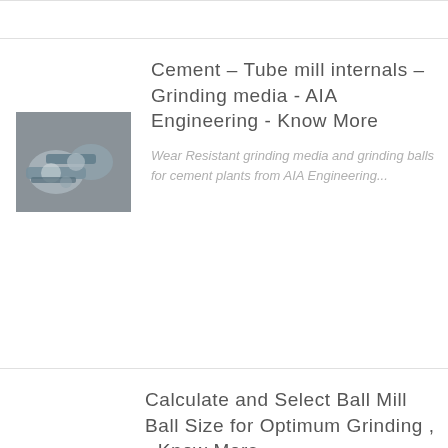[Figure (photo): Photo of metal bolts and fasteners on a surface]
Cement – Tube mill internals – Grinding media - AIA Engineering - Know More
Wear Resistant grinding media and grinding balls for cement plants from AIA Engineering...
[Figure (photo): Photo of metal rails or plates stacked together]
Calculate and Select Ball Mill Ball Size for Optimum Grinding , - Know More